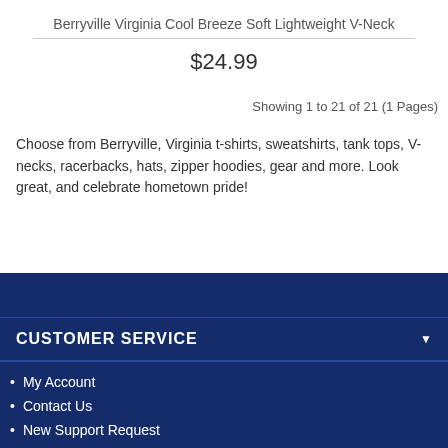Berryville Virginia Cool Breeze Soft Lightweight V-Neck
$24.99
Showing 1 to 21 of 21 (1 Pages)
Choose from Berryville, Virginia t-shirts, sweatshirts, tank tops, V-necks, racerbacks, hats, zipper hoodies, gear and more. Look great, and celebrate hometown pride!
CUSTOMER SERVICE
My Account
Contact Us
New Support Request